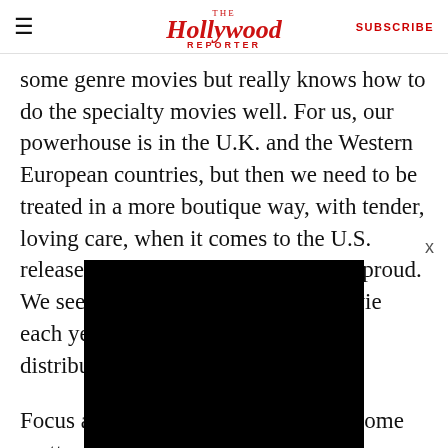The Hollywood Reporter | SUBSCRIBE
some genre movies but really knows how to do the specialty movies well. For us, our powerhouse is in the U.K. and the Western European countries, but then we need to be treated in a more boutique way, with tender, loving care, when it comes to the U.S. release, and these guys have done us proud. We seem to be supplying them a movie each year that their new team has distributed brilliantly.”
Focus also has earned the loyalty of some pretty
[Figure (screenshot): Black video player rectangle embedded in page]